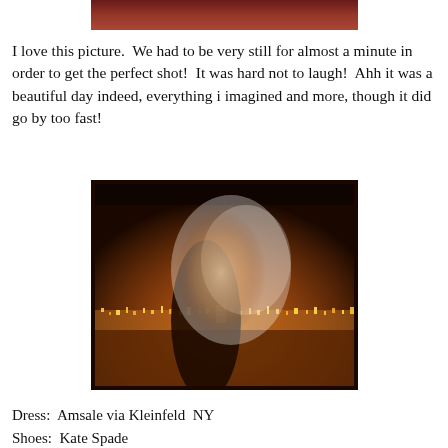[Figure (photo): Top portion of a wedding photo showing dark red/maroon tones, partially cropped at top of page]
I love this picture.  We had to be very still for almost a minute in order to get the perfect shot!  It was hard not to laugh!  Ahh it was a beautiful day indeed, everything i imagined and more, though it did go by too fast!
[Figure (photo): Wedding couple kissing in front of a city skyline at night with warm amber/orange lighting, bride's veil visible, city lights reflected on water in background]
Dress:  Amsale via Kleinfeld  NY
Shoes:  Kate Spade